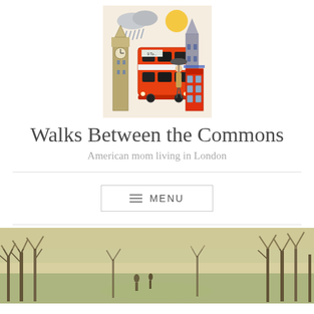[Figure (illustration): Illustrated London icons: Big Ben, orange double-decker bus, red telephone box, gothic church tower, woman with umbrella, rain clouds and sun]
Walks Between the Commons
American mom living in London
[Figure (other): MENU navigation button with hamburger icon lines]
[Figure (photo): Outdoor park scene with bare winter trees, people walking, warm light sky]